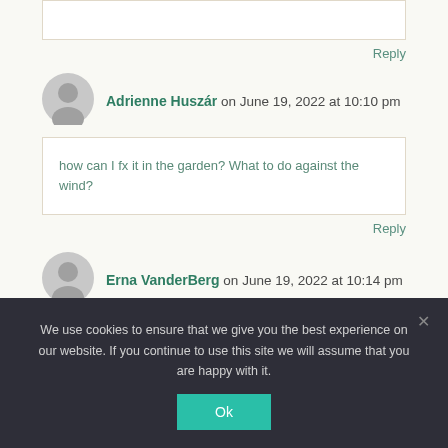Reply
Adrienne Huszár on June 19, 2022 at 10:10 pm
how can I fx it in the garden? What to do against the wind?
Reply
Erna VanderBerg on June 19, 2022 at 10:14 pm
We use cookies to ensure that we give you the best experience on our website. If you continue to use this site we will assume that you are happy with it.